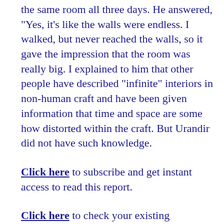the same room all three days. He answered, "Yes, it's like the walls were endless. I walked, but never reached the walls, so it gave the impression that the room was really big. I explained to him that other people have described "infinite" interiors in non-human craft and have been given information that time and space are some how distorted within the craft. But Urandir did not have such knowledge.
Click here to subscribe and get instant access to read this report.
Click here to check your existing subscription